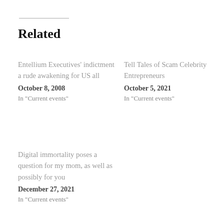Related
Entellium Executives' indictment a rude awakening for US all
October 8, 2008
In "Current events"
Tell Tales of Scam Celebrity Entrepreneurs
October 5, 2021
In "Current events"
Digital immortality poses a question for my mom, as well as possibly for you
December 27, 2021
In "Current events"